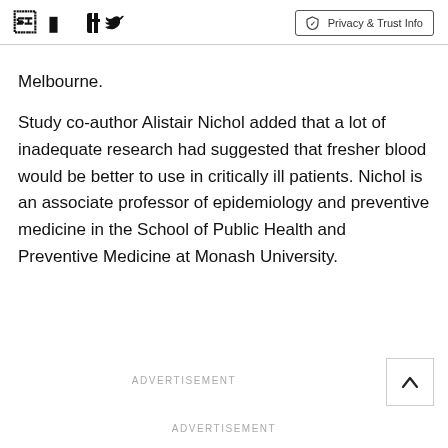Facebook Twitter Privacy & Trust Info
Melbourne.
Study co-author Alistair Nichol added that a lot of inadequate research had suggested that fresher blood would be better to use in critically ill patients. Nichol is an associate professor of epidemiology and preventive medicine in the School of Public Health and Preventive Medicine at Monash University.
ADVERTISEMENT
ADVERTISEMENT